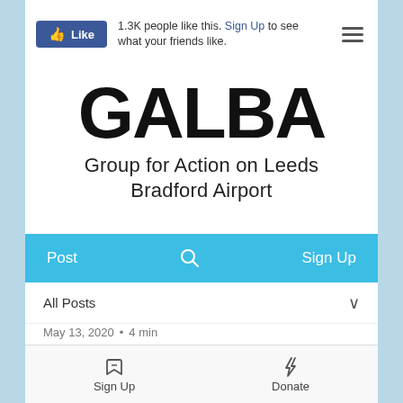[Figure (screenshot): Facebook Like button with blue background and thumbs up icon]
1.3K people like this. Sign Up to see what your friends like.
GALBA
Group for Action on Leeds Bradford Airport
Post   Sign Up
All Posts
May 13, 2020 • 4 min
Press Release:
Sign Up   Donate